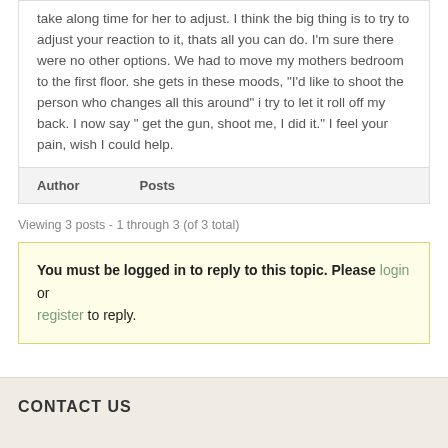take along time for her to adjust.  I think the big thing is to try to adjust your reaction to it, thats all you can do.  I'm sure there were no other options.  We had to move my mothers bedroom to the first floor.  she gets in these moods, "I'd like to shoot the person who changes all this around"  i try to let it roll off my back.  I now say " get the gun, shoot me, I did it."  I feel your pain, wish I could help.
| Author | Posts |
| --- | --- |
Viewing 3 posts - 1 through 3 (of 3 total)
You must be logged in to reply to this topic. Please login or register to reply.
CONTACT US